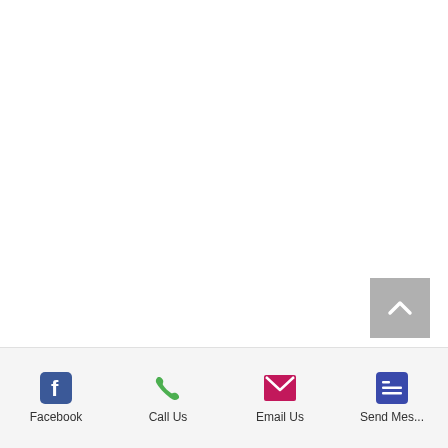[Figure (other): Scroll to top button — grey square with white upward chevron arrow, positioned in lower right area of page]
[Figure (infographic): Mobile app bottom navigation bar with four items: Facebook (blue Facebook 'f' icon), Call Us (green phone icon), Email Us (magenta/pink envelope icon), Send Mes... (blue/indigo list/message icon)]